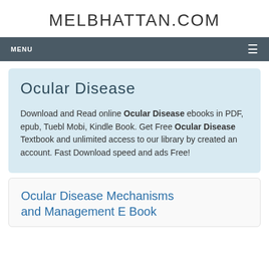MELBHATTAN.COM
MENU
Ocular Disease
Download and Read online Ocular Disease ebooks in PDF, epub, Tuebl Mobi, Kindle Book. Get Free Ocular Disease Textbook and unlimited access to our library by created an account. Fast Download speed and ads Free!
Ocular Disease Mechanisms and Management E Book